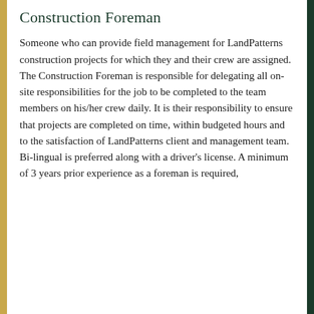Construction Foreman
Someone who can provide field management for LandPatterns construction projects for which they and their crew are assigned. The Construction Foreman is responsible for delegating all on-site responsibilities for the job to be completed to the team members on his/her crew daily. It is their responsibility to ensure that projects are completed on time, within budgeted hours and to the satisfaction of LandPatterns client and management team. Bi-lingual is preferred along with a driver's license. A minimum of 3 years prior experience as a foreman is required,